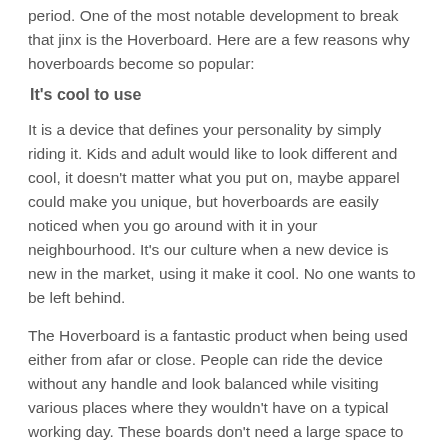period. One of the most notable development to break that jinx is the Hoverboard. Here are a few reasons why hoverboards become so popular:
It's cool to use
It is a device that defines your personality by simply riding it. Kids and adult would like to look different and cool, it doesn't matter what you put on, maybe apparel could make you unique, but hoverboards are easily noticed when you go around with it in your neighbourhood. It's our culture when a new device is new in the market, using it make it cool. No one wants to be left behind.
The Hoverboard is a fantastic product when being used either from afar or close. People can ride the device without any handle and look balanced while visiting various places where they wouldn't have on a typical working day. These boards don't need a large space to operate. It is a quick solution for individuals that work nearby or a student whose school is in the street. Also, it has a side benefit of burning excess calories